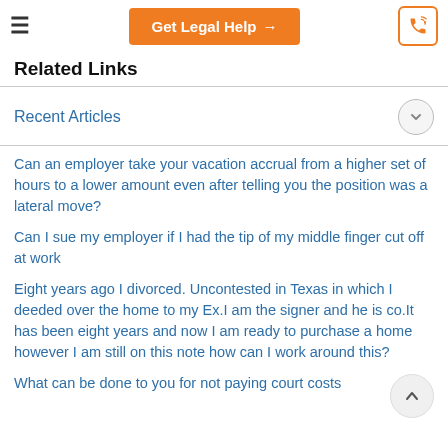≡  Get Legal Help →  [phone icon]
Related Links
Recent Articles
Can an employer take your vacation accrual from a higher set of hours to a lower amount even after telling you the position was a lateral move?
Can I sue my employer if I had the tip of my middle finger cut off at work
Eight years ago I divorced. Uncontested in Texas in which I deeded over the home to my Ex.I am the signer and he is co.It has been eight years and now I am ready to purchase a home however I am still on this note how can I work around this?
What can be done to you for not paying court costs